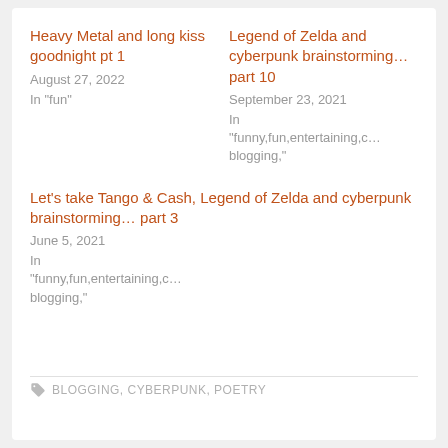Heavy Metal and long kiss goodnight pt 1
August 27, 2022
In "fun"
Legend of Zelda and cyberpunk brainstorming... part 10
September 23, 2021
In "funny,fun,entertaining,c... blogging,"
Let's take Tango & Cash, Legend of Zelda and cyberpunk brainstorming... part 3
June 5, 2021
In "funny,fun,entertaining,c... blogging,"
BLOGGING, CYBERPUNK, POETRY